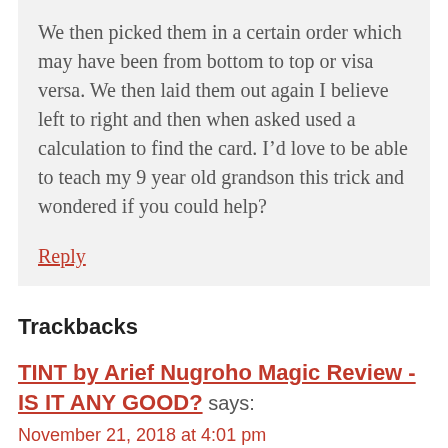We then picked them in a certain order which may have been from bottom to top or visa versa. We then laid them out again I believe left to right and then when asked used a calculation to find the card. I’d love to be able to teach my 9 year old grandson this trick and wondered if you could help?
Reply
Trackbacks
TINT by Arief Nugroho Magic Review - IS IT ANY GOOD? says:
November 21, 2018 at 4:01 pm